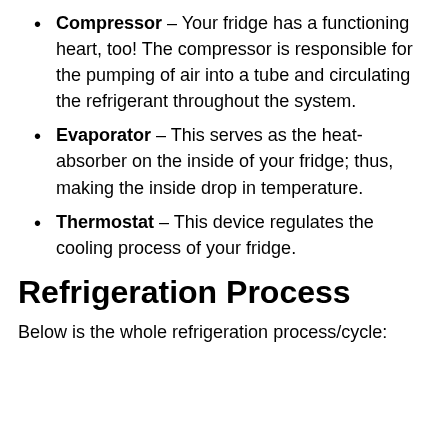Compressor – Your fridge has a functioning heart, too! The compressor is responsible for the pumping of air into a tube and circulating the refrigerant throughout the system.
Evaporator – This serves as the heat-absorber on the inside of your fridge; thus, making the inside drop in temperature.
Thermostat – This device regulates the cooling process of your fridge.
Refrigeration Process
Below is the whole refrigeration process/cycle: